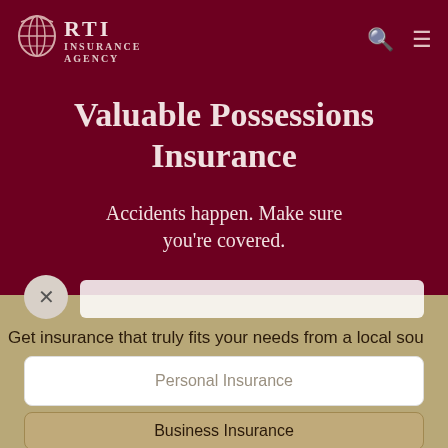[Figure (logo): RTI Insurance Agency logo with globe graphic on dark red background]
Valuable Possessions Insurance
Accidents happen. Make sure you're covered.
Get insurance that truly fits your needs from a local sou
Personal Insurance
Business Insurance